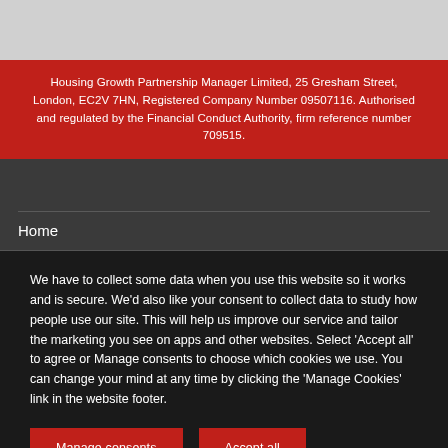Housing Growth Partnership Manager Limited, 25 Gresham Street, London, EC2V 7HN, Registered Company Number 09507116. Authorised and regulated by the Financial Conduct Authority, firm reference number 709515.
Home
We have to collect some data when you use this website so it works and is secure. We'd also like your consent to collect data to study how people use our site. This will help us improve our service and tailor the marketing you see on apps and other websites. Select 'Accept all' to agree or Manage consents to choose which cookies we use. You can change your mind at any time by clicking the 'Manage Cookies' link in the website footer.
Manage consents
Accept all